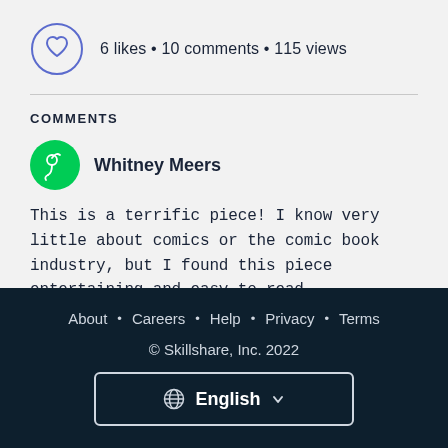[Figure (infographic): Heart icon in circle with likes, comments, views count]
6 likes • 10 comments • 115 views
COMMENTS
[Figure (illustration): Green circle avatar with abstract face icon for Whitney Meers]
Whitney Meers
This is a terrific piece! I know very little about comics or the comic book industry, but I found this piece entertaining and easy to read.
I noticed that you remained relatively objective
About • Careers • Help • Privacy • Terms
© Skillshare, Inc. 2022
English